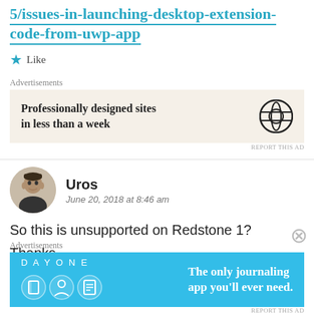5/issues-in-launching-desktop-extension-code-from-uwp-app
★ Like
Advertisements
[Figure (other): WordPress advertisement: Professionally designed sites in less than a week, with WordPress logo]
REPORT THIS AD
Uros
June 20, 2018 at 8:46 am
So this is unsupported on Redstone 1?
Thanks,
Advertisements
[Figure (other): Day One journaling app advertisement: The only journaling app you'll ever need.]
REPORT THIS AD